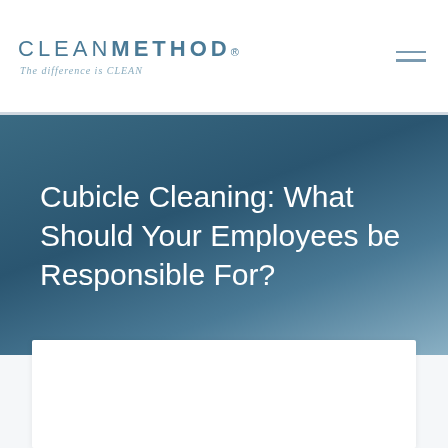CLEAN METHOD® — The difference is CLEAN
Cubicle Cleaning: What Should Your Employees be Responsible For?